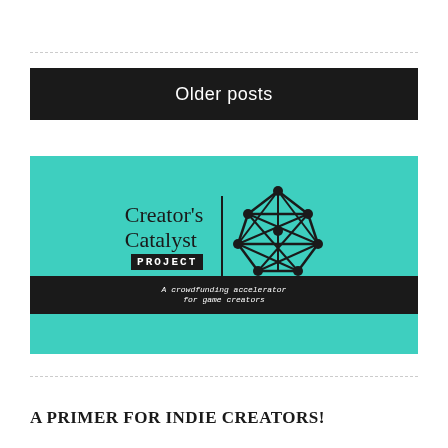Older posts
[Figure (logo): Creator's Catalyst Project logo on teal background with geometric icosahedron icon and subtitle 'A crowdfunding accelerator for game creators']
A PRIMER FOR INDIE CREATORS!